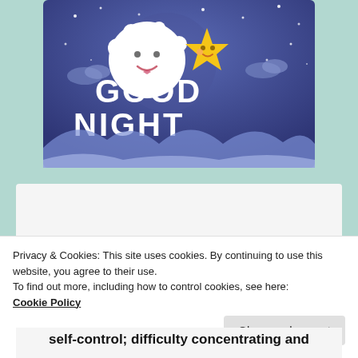[Figure (illustration): Good Night illustration with moon character, star character and text 'GOOD NIGHT' on a dark blue starry night sky background with mountains]
Privacy & Cookies: This site uses cookies. By continuing to use this website, you agree to their use.
To find out more, including how to control cookies, see here:
Cookie Policy
Close and accept
self-control; difficulty concentrating and